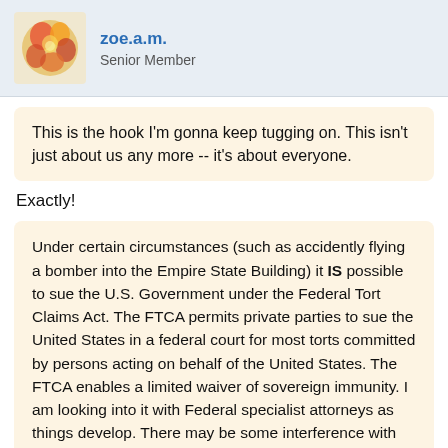[Figure (illustration): Forum user avatar: colorful abstract floral painting]
zoe.a.m.
Senior Member
This is the hook I'm gonna keep tugging on. This isn't just about us any more -- it's about everyone.
Exactly!
Under certain circumstances (such as accidently flying a bomber into the Empire State Building) it IS possible to sue the U.S. Government under the Federal Tort Claims Act. The FTCA permits private parties to sue the United States in a federal court for most torts committed by persons acting on behalf of the United States. The FTCA enables a limited waiver of sovereign immunity. I am looking into it with Federal specialist attorneys as things develop. There may be some interference with the civil rights of patients in the case of medical abuse. These